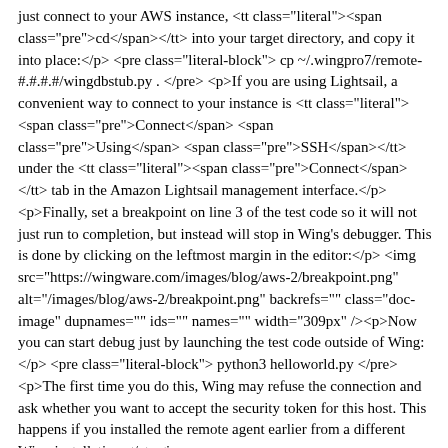just connect to your AWS instance, <tt class="literal"><span class="pre">cd</span></tt> into your target directory, and copy it into place:</p> <pre class="literal-block"> cp ~/.wingpro7/remote-#.#.#.#/wingdbstub.py . </pre> <p>If you are using Lightsail, a convenient way to connect to your instance is <tt class="literal"><span class="pre">Connect</span> <span class="pre">Using</span> <span class="pre">SSH</span></tt> under the <tt class="literal"><span class="pre">Connect</span></tt> tab in the Amazon Lightsail management interface.</p> <p>Finally, set a breakpoint on line 3 of the test code so it will not just run to completion, but instead will stop in Wing's debugger. This is done by clicking on the leftmost margin in the editor:</p> <img src="https://wingware.com/images/blog/aws-2/breakpoint.png" alt="/images/blog/aws-2/breakpoint.png" backrefs="" class="doc-image" dupnames="" ids="" names="" width="309px" /><p>Now you can start debug just by launching the test code outside of Wing:</p> <pre class="literal-block"> python3 helloworld.py </pre> <p>The first time you do this, Wing may refuse the connection and ask whether you want to accept the security token for this host. This happens if you installed the remote agent earlier from a different Wing installation:</p> <img src="https://wingware.com/images/blog/aws-2/security-token.png" alt="/images/blog/aws-2/security-token.png" backrefs="" class="doc-image" dupnames="" ids="" names="" width="722px" /><p>If this dialog appears, click <tt class="literal"><span